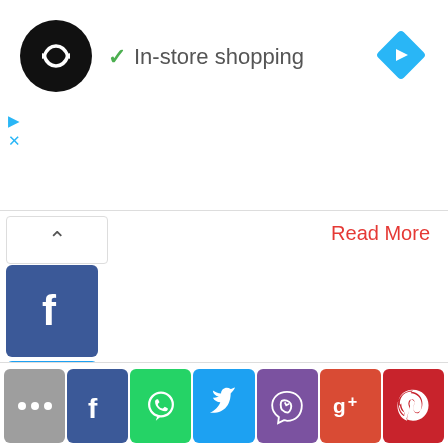[Figure (screenshot): App logo: black circle with white infinity-like arrow symbol]
✓ In-store shopping
[Figure (illustration): Blue navigation diamond/arrow icon top right]
[Figure (illustration): Ad play (triangle) and close (X) icons in light blue]
[Figure (screenshot): Upward chevron button (expand/collapse)]
Read More
[Figure (illustration): Facebook social share button (blue square with f)]
[Figure (illustration): Twitter social share button (blue square with bird)]
[Figure (illustration): WhatsApp social share button (green square with phone bubble)]
[Figure (illustration): Instagram social share button (pink square with camera)]
[Figure (illustration): Messenger social share button (blue square with messenger logo)]
[Figure (illustration): Bottom bar: More (...), Facebook, WhatsApp, Twitter, Viber, Google+, Pinterest share buttons]